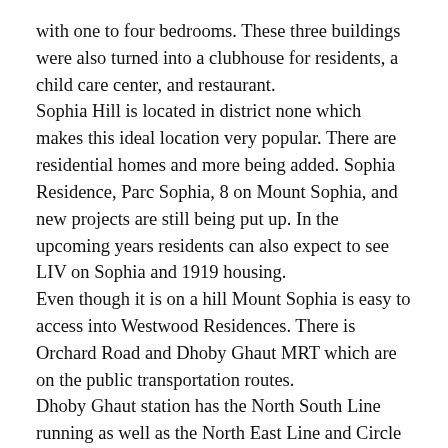with one to four bedrooms. These three buildings were also turned into a clubhouse for residents, a child care center, and restaurant. Sophia Hill is located in district none which makes this ideal location very popular. There are residential homes and more being added. Sophia Residence, Parc Sophia, 8 on Mount Sophia, and new projects are still being put up. In the upcoming years residents can also expect to see LIV on Sophia and 1919 housing. Even though it is on a hill Mount Sophia is easy to access into Westwood Residences. There is Orchard Road and Dhoby Ghaut MRT which are on the public transportation routes. Dhoby Ghaut station has the North South Line running as well as the North East Line and Circle Line. This allows easy access to transportation to residents. The Bencoolen MRT station and the Downtown Line are also located close by Westwood